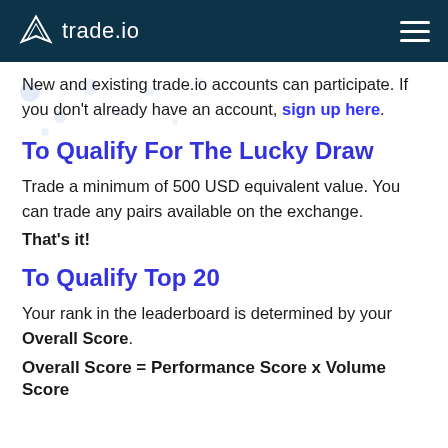trade.io
New and existing trade.io accounts can participate. If you don't already have an account, sign up here.
To Qualify For The Lucky Draw
Trade a minimum of 500 USD equivalent value. You can trade any pairs available on the exchange.
That's it!
To Qualify Top 20
Your rank in the leaderboard is determined by your Overall Score.
Overall Score = Performance Score x Volume Score